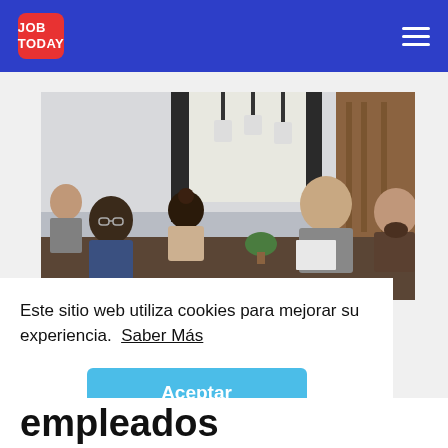JOB TODAY
[Figure (photo): Group of young people sitting around a table in a modern office/meeting space, having a discussion. Black pendant lights hang from the ceiling, wooden panels in background, small plant on the table.]
Este sitio web utiliza cookies para mejorar su experiencia.  Saber Más
Aceptar
empleados